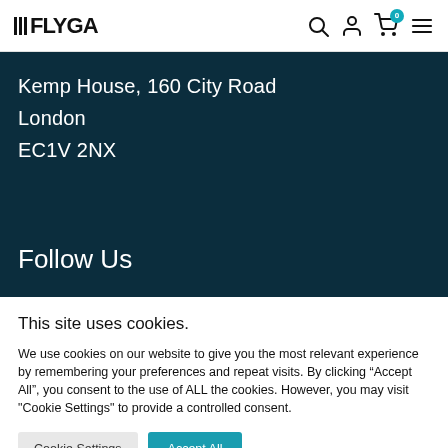FLYGA — navigation bar with logo, search, account, cart (0), menu icons
Kemp House, 160 City Road
London
EC1V 2NX
Follow Us
This site uses cookies.
We use cookies on our website to give you the most relevant experience by remembering your preferences and repeat visits. By clicking “Accept All”, you consent to the use of ALL the cookies. However, you may visit "Cookie Settings" to provide a controlled consent.
Cookie Settings | Accept All